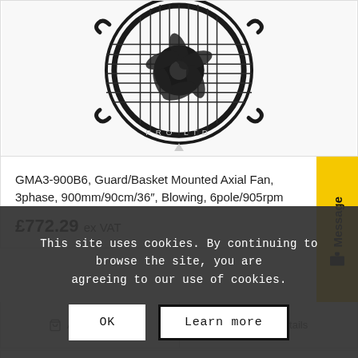[Figure (photo): Industrial axial fan with guard/basket mount, black, circular wire guard, viewed from front. Watermark text 'PRO... LTD' visible.]
GMA3-900B6, Guard/Basket Mounted Axial Fan, 3phase, 900mm/90cm/36″, Blowing, 6pole/905rpm
£772.29 ex VAT
Add to basket
Show Details
[Figure (photo): Second product fan image partially visible at bottom of page]
This site uses cookies. By continuing to browse the site, you are agreeing to our use of cookies.
OK
Learn more